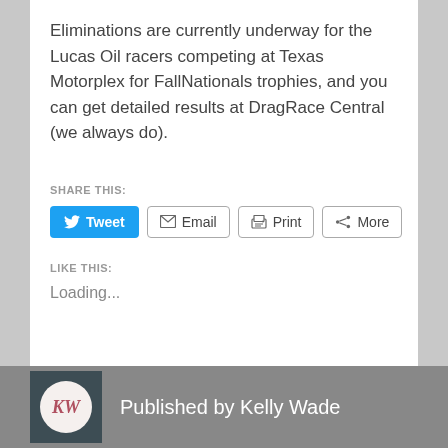Eliminations are currently underway for the Lucas Oil racers competing at Texas Motorplex for FallNationals trophies, and you can get detailed results at DragRace Central (we always do).
SHARE THIS:
[Figure (screenshot): Social sharing buttons: Tweet (blue), Email (outline), Print (outline), More (outline)]
LIKE THIS:
Loading...
Published by Kelly Wade